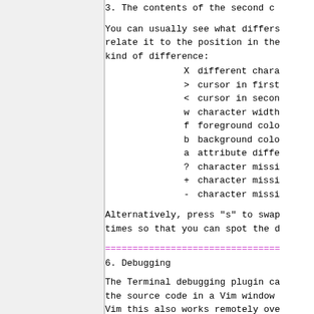3.  The contents of the second c
You can usually see what differs
relate it to the position in the
kind of difference:
X       different chara
>       cursor in first
<       cursor in secon
w       character width
f       foreground colo
b       background colo
a       attribute diffe
?       character missi
+       character missi
-       character missi
Alternatively, press "s" to swap
times so that you can spot the d
================================
6. Debugging
The Terminal debugging plugin ca
the source code in a Vim window
Vim this also works remotely ove
When the +terminal+ feature is m